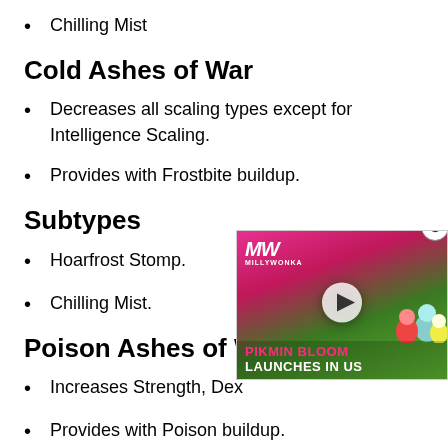Chilling Mist
Cold Ashes of War
Decreases all scaling types except for Intelligence Scaling.
Provides with Frostbite buildup.
Subtypes
Hoarfrost Stomp.
Chilling Mist.
Poison Ashes of War
Increases Strength, Dex…
Provides with Poison buildup.
Subtypes
[Figure (screenshot): Video advertisement overlay for Pikmin Bloom game with play button, MW logo, and text 'PIKMIN BLOOM LAUNCHES IN US'. Close button (X) in top right corner.]